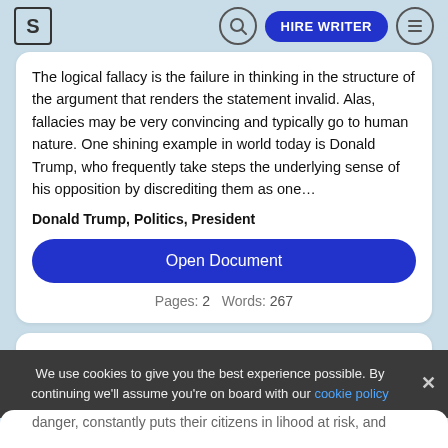S | HIRE WRITER
The logical fallacy is the failure in thinking in the structure of the argument that renders the statement invalid. Alas, fallacies may be very convincing and typically go to human nature. One shining example in world today is Donald Trump, who frequently take steps the underlying sense of his opposition by discrediting them as one…
Donald Trump, Politics, President
Open Document
Pages: 2    Words: 267
Donald Trump is a Bad President
We use cookies to give you the best experience possible. By continuing we'll assume you're on board with our cookie policy
danger, constantly puts their citizens in lihood at risk, and